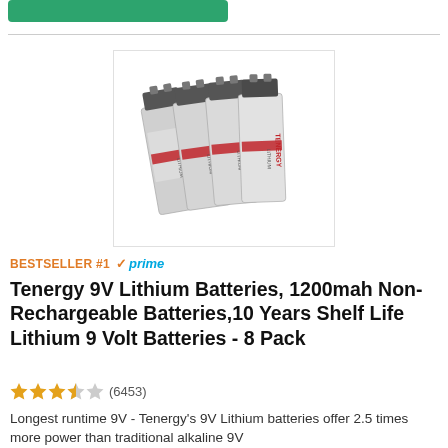[Figure (photo): Group of 8 Tenergy 9V lithium batteries arranged side by side, gray with red TENERGY LITHIUM branding]
BESTSELLER #1  ✓prime
Tenergy 9V Lithium Batteries, 1200mah Non-Rechargeable Batteries,10 Years Shelf Life Lithium 9 Volt Batteries - 8 Pack
★★★★☆ (6453)
Longest runtime 9V - Tenergy's 9V Lithium batteries offer 2.5 times more power than traditional alkaline 9V